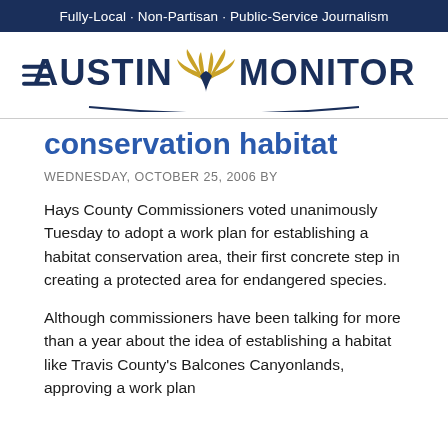Fully-Local · Non-Partisan · Public-Service Journalism
[Figure (logo): Austin Monitor logo with winged emblem between AUSTIN and MONITOR text, hamburger menu icon on left]
conservation habitat
WEDNESDAY, OCTOBER 25, 2006 BY
Hays County Commissioners voted unanimously Tuesday to adopt a work plan for establishing a habitat conservation area, their first concrete step in creating a protected area for endangered species.
Although commissioners have been talking for more than a year about the idea of establishing a habitat like Travis County's Balcones Canyonlands, approving a work plan